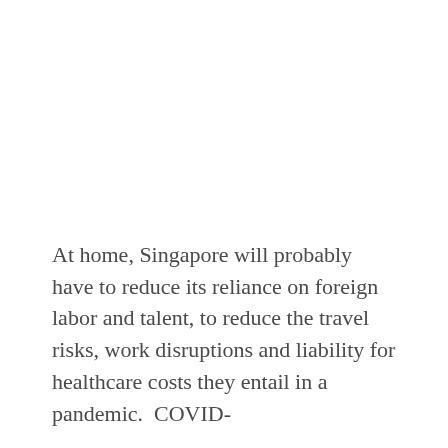At home, Singapore will probably have to reduce its reliance on foreign labor and talent, to reduce the travel risks, work disruptions and liability for healthcare costs they entail in a pandemic.  COVID-